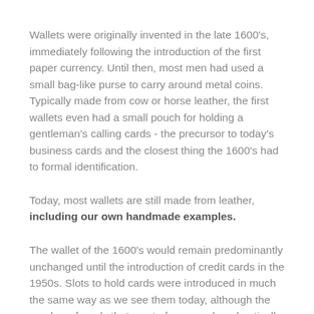Wallets were originally invented in the late 1600's, immediately following the introduction of the first paper currency. Until then, most men had used a small bag-like purse to carry around metal coins. Typically made from cow or horse leather, the first wallets even had a small pouch for holding a gentleman's calling cards - the precursor to today's business cards and the closest thing the 1600's had to formal identification.
Today, most wallets are still made from leather, including our own handmade examples.
The wallet of the 1600's would remain predominantly unchanged until the introduction of credit cards in the 1950s. Slots to hold cards were introduced in much the same way as we see them today, although the number of cards that most of us carry has drastically increased. According to the UK card association, almost 90% of adults carry a charge or debit card